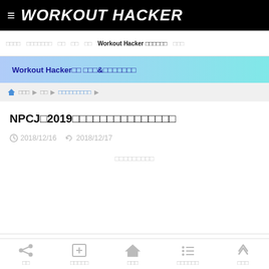≡ WORKOUT HACKER
□□□□  □□□□□□□  □□  □□  □□  Workout Hacker □□□□□□  □□□
Workout Hacker□□ □□□&□□□□□□□
🏠 □□□ ▶ □□ ▶ □□□□□□□□□ ▶
NPCJ□2019□□□□□□□□□□□□□□□
2018/12/16  2018/12/17
□□□□□□□□□
□□  □□□□□  □□□  □□□□□□  □□□